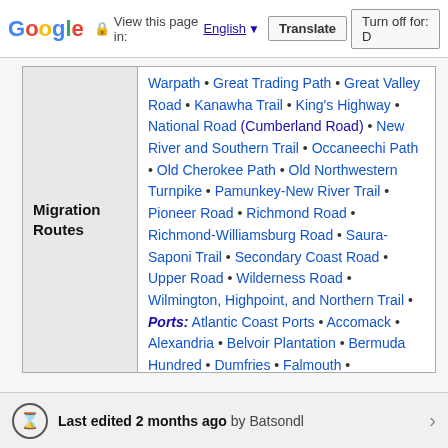Google | View this page in: English | Translate | Turn off for: D
| Migration Routes | content |
| --- | --- |
| Migration Routes | Warpath • Great Trading Path • Great Valley Road • Kanawha Trail • King's Highway • National Road (Cumberland Road) • New River and Southern Trail • Occaneechi Path • Old Cherokee Path • Old Northwestern Turnpike • Pamunkey-New River Trail • Pioneer Road • Richmond Road • Richmond-Williamsburg Road • Saura-Saponi Trail • Secondary Coast Road • Upper Road • Wilderness Road • Wilmington, Highpoint, and Northern Trail • Ports: Atlantic Coast Ports • Accomack • Alexandria • Belvoir Plantation • Bermuda Hundred • Dumfries • Falmouth • Fredericksburg • Hampton • Jamestown • Leedstown • Norfolk • Port Royal • Portsmouth • South Quay • Suffolk • Tappahannock (aka Hobb's Hole) • Urbanna • Williamsburg • Yorktown |
Last edited 2 months ago by Batsondl